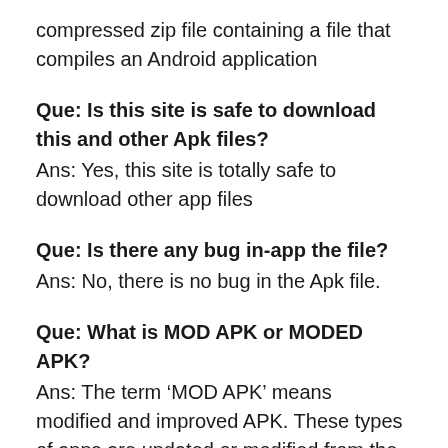compressed zip file containing a file that compiles an Android application
Que: Is this site is safe to download this and other Apk files?
Ans: Yes, this site is totally safe to download other app files
Que: Is there any bug in-app the file?
Ans: No, there is no bug in the Apk file.
Que: What is MOD APK or MODED APK?
Ans: The term ‘MOD APK’ means modified and improved APK. These types of apps are updated or modified from the original Apk versions. In the MOD version, you can get a maximum tool and its benefits.